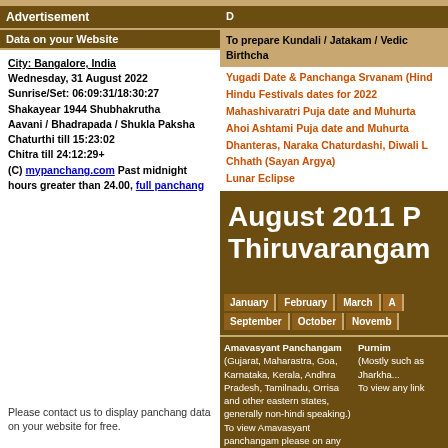Advertisement
Data on your Website
City: Bangalore, India
Wednesday, 31 August 2022
Sunrise/Set: 06:09:31/18:30:27
Shakayear 1944 Shubhakrutha
Aavani / Bhadrapada / Shukla Paksha
Chaturthi till 15:23:02
Chitra till 24:12:29+
(C) mypanchang.com Past midnight hours greater than 24.00, full panchang
Please contact us to display panchang data on your website for free.
To prepare Kundali / Jatakam / Vedic Birthcha...
Yugadi Date & Panchanga Srvanam (Hind...
Hindu Festivals dates for 2022
Mahashivaratri Puja date and Muhurta
Ahoi Ashtami Puja date and Muhurta
Dhanteras, Naraka Chaturdashi, Diwali L...
Chhath (Sayan Argya)
Lunar Eclipse
August 2011 P... Thiruvarangam...
January | February | March | ...
September | October | Novemb...
Amavasyant Panchangam (Gujarat, Maharastra, Goa, Karnataka, Kerala, Andhra Pradesh, Tamilnadu, Orrisa and other eastern states, generally non-hindi speaking.) To view Amavasyant panchangam please on any link below)
Purnimant Panchangam (Mostly northern states, such as ..., Jharkha... To view any link...
Panchangam - Horizontal
Panchangam - Vertical
Panchangam - Detailed
Panchangam - Tabular
Panchangam - Basic Tabular